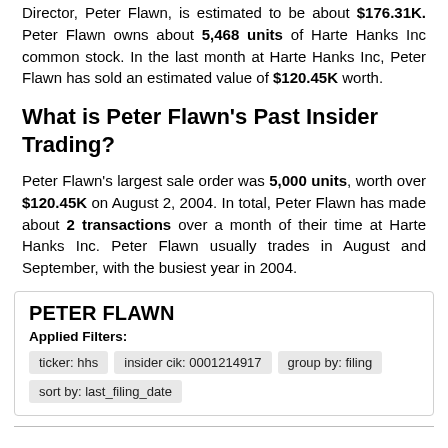Director, Peter Flawn, is estimated to be about $176.31K. Peter Flawn owns about 5,468 units of Harte Hanks Inc common stock. In the last month at Harte Hanks Inc, Peter Flawn has sold an estimated value of $120.45K worth.
What is Peter Flawn's Past Insider Trading?
Peter Flawn's largest sale order was 5,000 units, worth over $120.45K on August 2, 2004. In total, Peter Flawn has made about 2 transactions over a month of their time at Harte Hanks Inc. Peter Flawn usually trades in August and September, with the busiest year in 2004.
| PETER FLAWN | Applied Filters: | ticker: hhs | insider cik: 0001214917 | group by: filing | sort by: last_filing_date |
| --- | --- | --- | --- | --- | --- |